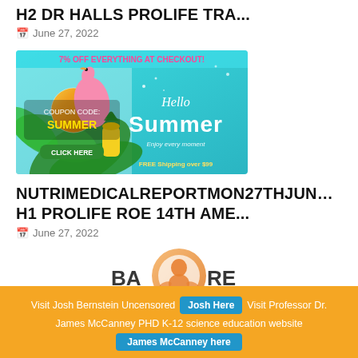H2 DR HALLS PROLIFE TRA...
June 27, 2022
[Figure (photo): Hello Summer promotional banner ad with flamingo, tropical leaves, pineapple, coupon code SUMMER, click here button, free shipping over $99 text]
NUTRIMEDICALREPORTMON27THJUN… H1 PROLIFE ROE 14TH AME...
June 27, 2022
[Figure (logo): Baby care logo with orange circular silhouette of baby]
Visit Josh Bernstein Uncensored  Josh Here  Visit Professor Dr. James McCanney PHD K-12 science education website  James McCanney here